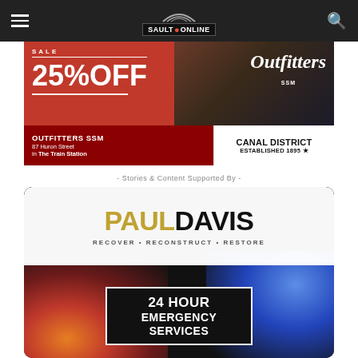SaultOnline navigation bar with hamburger menu, SaultOnline logo, and search icon
[Figure (advertisement): Outfitters SSM advertisement: 25% OFF sale, red background, store info '87 Huron Street in The Train Station', Canal District Established 1895]
- Stories & Content Supported By -
[Figure (advertisement): Paul Davis advertisement: RECOVER • RECONSTRUCT • RESTORE, 24 HOUR EMERGENCY SERVICES, dark background with fire and lightning imagery]